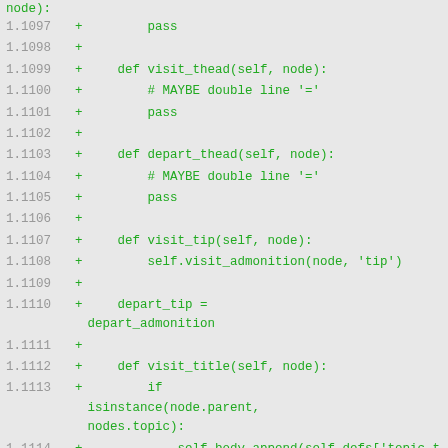code diff showing Python class methods for RST/docutils visitor pattern, lines 1.1097–1.1116
1.1097  +        pass
1.1098  +
1.1099  +    def visit_thead(self, node):
1.1100  +        # MAYBE double line '='
1.1101  +        pass
1.1102  +
1.1103  +    def depart_thead(self, node):
1.1104  +        # MAYBE double line '='
1.1105  +        pass
1.1106  +
1.1107  +    def visit_tip(self, node):
1.1108  +            self.visit_admonition(node, 'tip')
1.1109  +
1.1110  +    depart_tip = depart_admonition
1.1111  +
1.1112  +    def visit_title(self, node):
1.1113  +        if isinstance(node.parent, nodes.topic):
1.1114  +            self.body.append(self.defs['topic-title'][0])
1.1115  +        elif isinstance(node.parent, nodes.sidebar):
1.1116  +